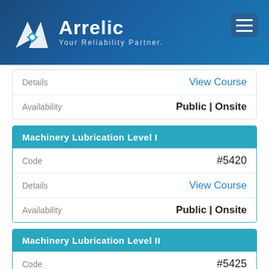[Figure (logo): Arrelic logo with white triangular mountain/arrow shape and text 'Arrelic - Your Reliability Partner.' on dark blue gradient header background with hamburger menu icon]
| Field | Value |
| --- | --- |
| Details | View Course |
| Availability | Public | Onsite |
Machinery Lubrication Level I
| Field | Value |
| --- | --- |
| Code | #5420 |
| Details | View Course |
| Availability | Public | Onsite |
Machinery Lubrication Level II
| Field | Value |
| --- | --- |
| Code | #5425 |
| Details | View Course |
| Availability | Public | Onsite |